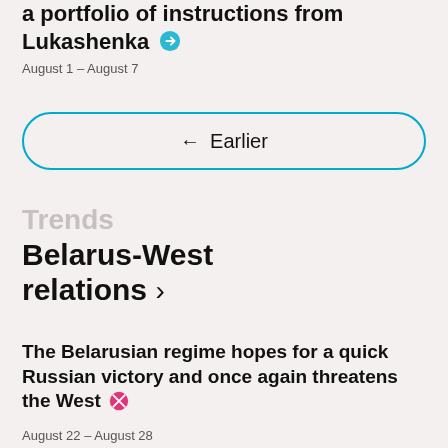a portfolio of instructions from Lukashenka →
August 1 – August 7
← Earlier
Trends
Belarus-West relations >
The Belarusian regime hopes for a quick Russian victory and once again threatens the West 🚫
August 22 – August 28